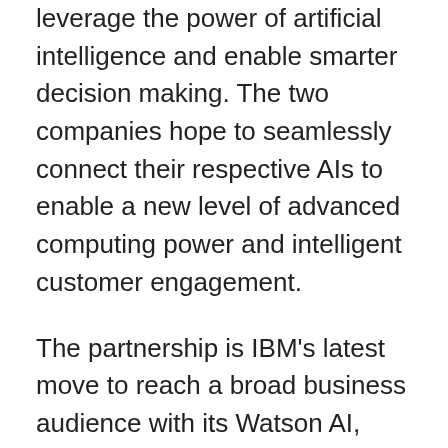leverage the power of artificial intelligence and enable smarter decision making. The two companies hope to seamlessly connect their respective AIs to enable a new level of advanced computing power and intelligent customer engagement.
The partnership is IBM's latest move to reach a broad business audience with its Watson AI, which sits at the core of its efforts to reinvent itself for the cloud-computing era. The deal with Salesforce will potentially make the system available to any company with a sales team.
For Salesforce, the deal will help it differentiate itself against its growing competition from tech giants like Microsoft, Oracle and Amazon's growing Web